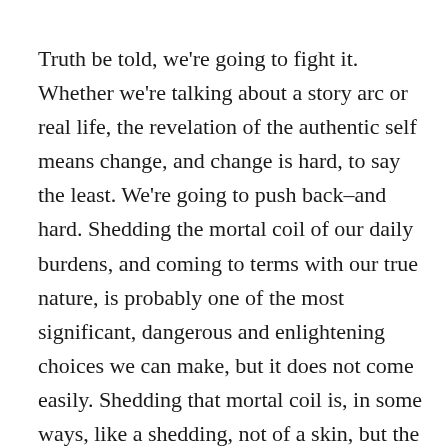Truth be told, we're going to fight it. Whether we're talking about a story arc or real life, the revelation of the authentic self means change, and change is hard, to say the least. We're going to push back–and hard. Shedding the mortal coil of our daily burdens, and coming to terms with our true nature, is probably one of the most significant, dangerous and enlightening choices we can make, but it does not come easily. Shedding that mortal coil is, in some ways, like a shedding, not of a skin, but the armor of what we feel is our humanity, which, in truth, is our isolating sensibility of separateness.
In the space between our challenges and our transformation, we encounter, not only the ego-self–the separate self we believe ourselves to be–and the